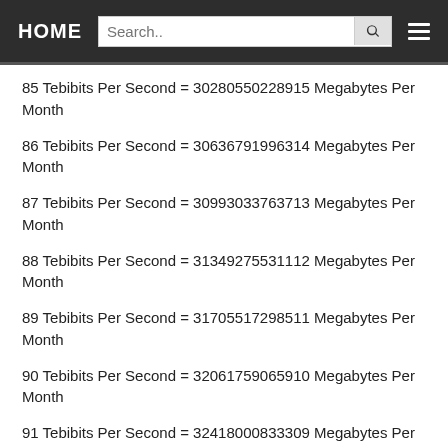HOME | Search..
85 Tebibits Per Second = 30280550228915 Megabytes Per Month
86 Tebibits Per Second = 30636791996314 Megabytes Per Month
87 Tebibits Per Second = 30993033763713 Megabytes Per Month
88 Tebibits Per Second = 31349275531112 Megabytes Per Month
89 Tebibits Per Second = 31705517298511 Megabytes Per Month
90 Tebibits Per Second = 32061759065910 Megabytes Per Month
91 Tebibits Per Second = 32418000833309 Megabytes Per